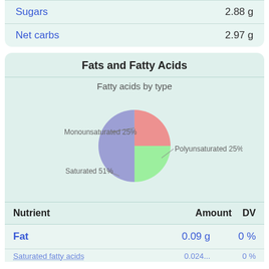| Nutrient | Amount |
| --- | --- |
| Sugars | 2.88 g |
| Net carbs | 2.97 g |
Fats and Fatty Acids
Fatty acids by type
[Figure (pie-chart): Fatty acids by type]
| Nutrient | Amount | DV |
| --- | --- | --- |
| Fat | 0.09 g | 0 % |
| Saturated fatty acids | 0.024... | 0 % |
⬡ Get started now